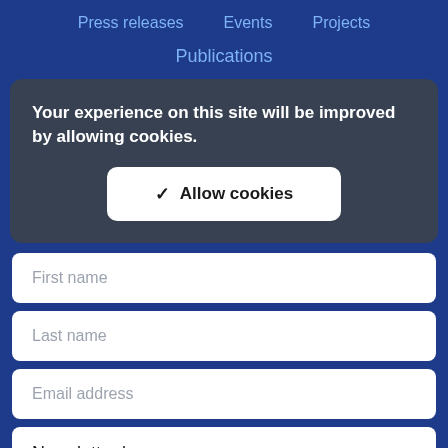Press releases   Events   Projects
Publications
Your experience on this site will be improved by allowing cookies.
✓ Allow cookies
First name
Last name
Email address
Newsletter language
Subscribe